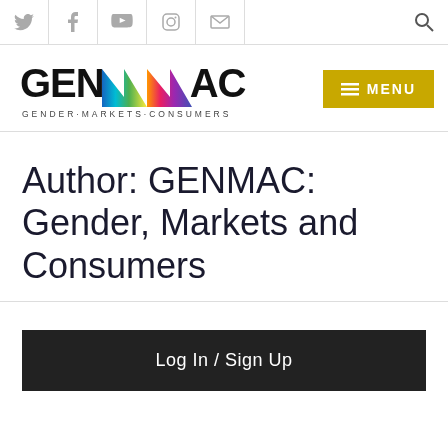GENMAC navigation bar with social icons (Twitter, Facebook, YouTube, Instagram, Email) and search
[Figure (logo): GENMAC: Gender, Markets, Consumers logo with rainbow-colored stylized M letters and tagline GENDER·MARKETS·CONSUMERS, alongside a gold MENU button]
Author: GENMAC: Gender, Markets and Consumers
Log In / Sign Up